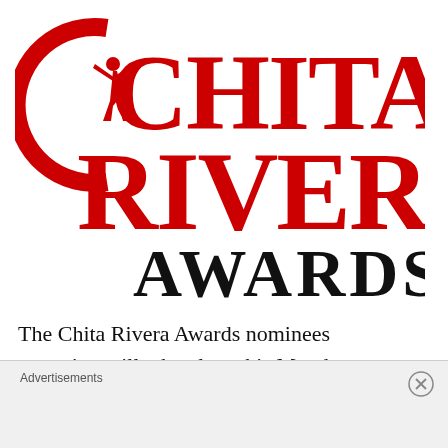[Figure (logo): Chita Rivera Awards logo: large red stylized letters CHITA RIVERA with a dancer silhouette inside the C, and AWARDS in large black serif letters below]
The Chita Rivera Awards nominees reception will take place this Monday, April 30, 2018 at
Advertisements